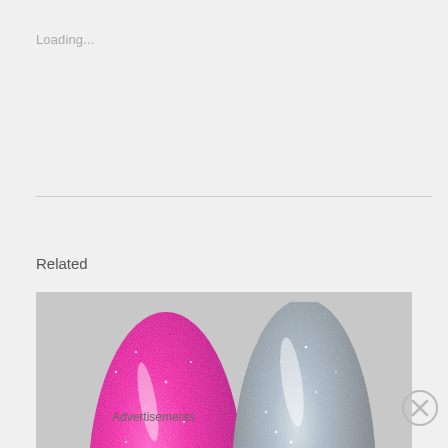Loading...
[Figure (photo): Two nail polish swatches side by side: left is bright pink/magenta with glitter shimmer, right is silver/gray holographic glitter. Watermark text reads ©RealPolishFanatic]
Related
Advertisements